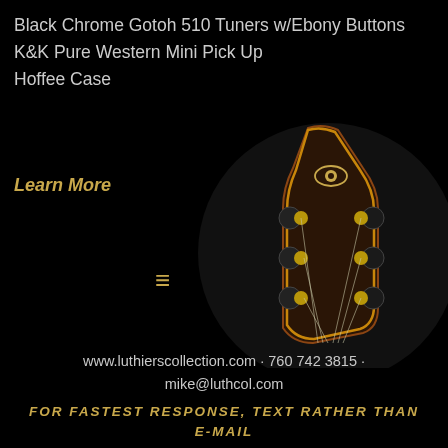Black Chrome Gotoh 510 Tuners w/Ebony Buttons
K&K Pure Western Mini Pick Up
Hoffee Case
Learn More
[Figure (photo): Close-up photo of a guitar headstock with gold tuner buttons, dark wood, decorative binding, and strings, set against a black circular background.]
≡
www.luthierscollection.com · 760 742 3815 · mike@luthcol.com
FOR FASTEST RESPONSE, TEXT RATHER THAN E-MAIL